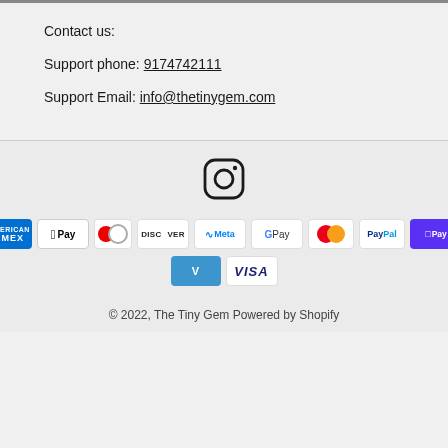Contact us:
Support phone: 9174742111
Support Email: info@thetinygem.com
[Figure (logo): Instagram icon - rounded square with circle and dot]
[Figure (infographic): Payment method icons: American Express, Apple Pay, Diners Club, Discover, Meta Pay, Google Pay, Mastercard, PayPal, Shop Pay, Venmo, Visa]
© 2022, The Tiny Gem Powered by Shopify